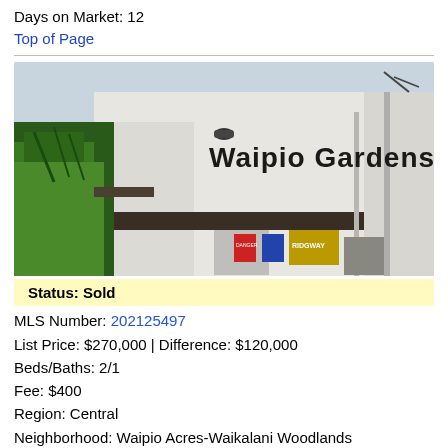Days on Market: 12
Top of Page
[Figure (photo): Exterior photo of a building with 'Waipio Gardens' text on the white wall, surrounded by tropical vegetation, with utility equipment visible at bottom.]
Status: Sold
MLS Number: 202125497
List Price: $270,000 | Difference: $120,000
Beds/Baths: 2/1
Fee: $400
Region: Central
Neighborhood: Waipio Acres-Waikalani Woodlands